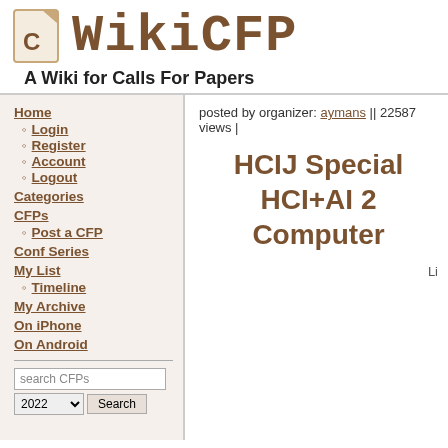WikiCFP — A Wiki for Calls For Papers
Home
Login
Register
Account
Logout
Categories
CFPs
Post a CFP
Conf Series
My List
Timeline
My Archive
On iPhone
On Android
posted by organizer: aymans || 22587 views |
HCIJ Special HCI+AI 2 Computer